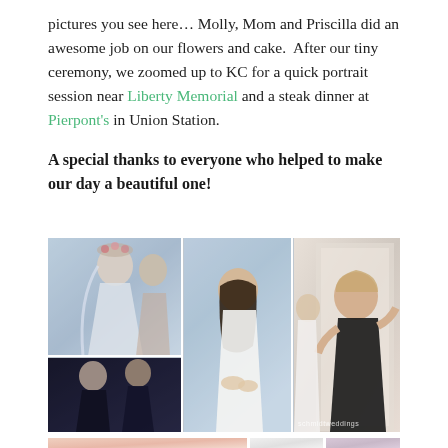pictures you see here… Molly, Mom and Priscilla did an awesome job on our flowers and cake.  After our tiny ceremony, we zoomed up to KC for a quick portrait session near Liberty Memorial and a steak dinner at Pierpont's in Union Station.
A special thanks to everyone who helped to make our day a beautiful one!
[Figure (photo): Wedding day photo collage showing three panels: top-left shows a bride with floral crown being helped by someone in a blue room, bottom-left shows two women posing together in dark clothing, center shows a bride in white halter dress looking down at something, right panel shows an older woman with short hair in dark top assisting the bride. Watermark reads 'schmidtweddings'.]
[Figure (photo): Bottom row of wedding photos showing close-ups of pink roses and white flowers on the left, and hands with a ring on the right, with purple/pink flowers in the center.]